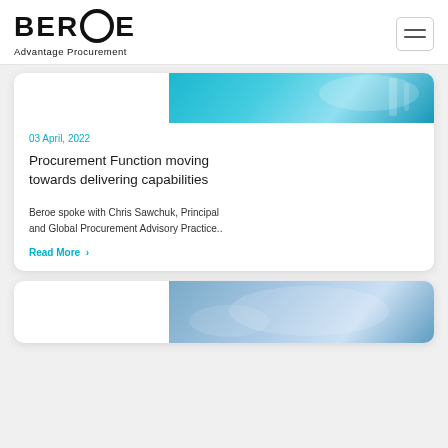BEROE Advantage Procurement
[Figure (screenshot): Navigation hamburger menu icon (three horizontal lines) in a rounded rectangle button]
[Figure (photo): Partial blue/teal image at top of article card]
03 April, 2022
Procurement Function moving towards delivering capabilities
Beroe spoke with Chris Sawchuk, Principal and Global Procurement Advisory Practice..
Read More ›
[Figure (photo): Partial blue/grey image at top of second article card (partially visible)]